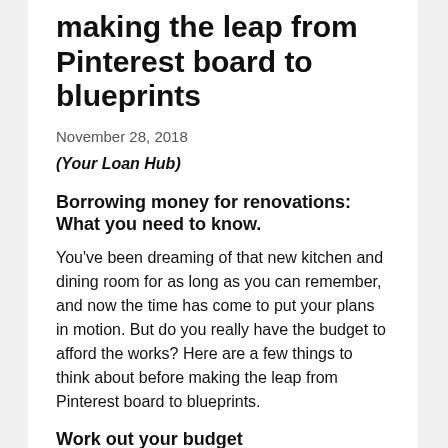making the leap from Pinterest board to blueprints
November 28, 2018
(Your Loan Hub)
Borrowing money for renovations: What you need to know.
You’ve been dreaming of that new kitchen and dining room for as long as you can remember, and now the time has come to put your plans in motion. But do you really have the budget to afford the works? Here are a few things to think about before making the leap from Pinterest board to blueprints.
Work out your budget